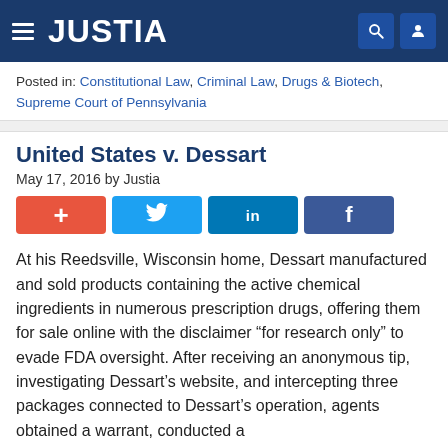JUSTIA
Posted in: Constitutional Law, Criminal Law, Drugs & Biotech, Supreme Court of Pennsylvania
United States v. Dessart
May 17, 2016 by Justia
[Figure (other): Social sharing buttons: +, Twitter, LinkedIn, Facebook]
At his Reedsville, Wisconsin home, Dessart manufactured and sold products containing the active chemical ingredients in numerous prescription drugs, offering them for sale online with the disclaimer “for research only” to evade FDA oversight. After receiving an anonymous tip, investigating Dessart’s website, and intercepting three packages connected to Dessart’s operation, agents obtained a warrant, conducted a